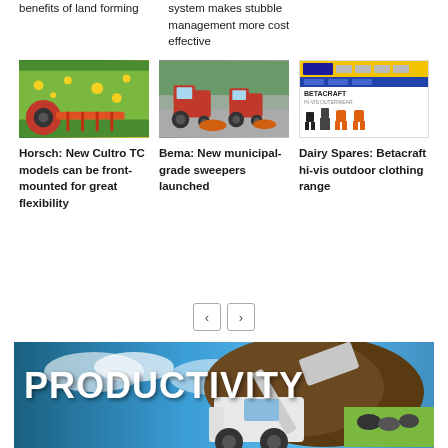benefits of land forming
system makes stubble management more cost effective
[Figure (photo): Red agricultural cultivator machine working in a yellow flowering field]
[Figure (photo): Two red municipal-grade sweeper tractors on a paved surface]
[Figure (screenshot): Dairy Spares website screenshot showing Betacraft hi-vis outdoor clothing range]
Horsch: New Cultro TC models can be front-mounted for great flexibility
Bema: New municipal-grade sweepers launched
Dairy Spares: Betacraft hi-vis outdoor clothing range
[Figure (photo): Bobcat telehandler machine moving a large pile of material with PRODUCTIVITY text overlay and dairy cows in background]